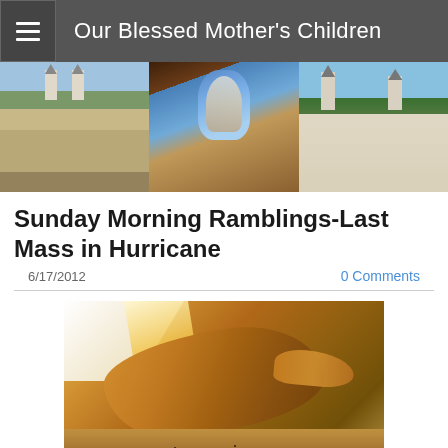Our Blessed Mother's Children
[Figure (photo): Three-panel banner: aerial view of church with large crowd on left, person holding image of Virgin Mary in center, church exterior right]
Sunday Morning Ramblings-Last Mass in Hurricane
6/17/2012
0 Comments
[Figure (illustration): Painting of hands scattering seeds onto ground]